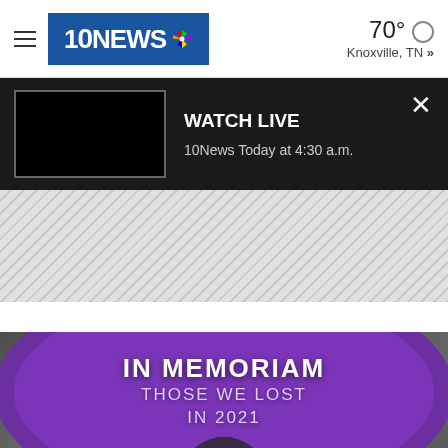10NEWS — 70° Knoxville, TN »
WATCH LIVE — 10News Today at 4:30 a.m.
[Figure (screenshot): Hatched/diagonal stripe advertisement banner placeholder]
[Figure (screenshot): In Memoriam video thumbnail with purple arc overlay showing 'IN MEMORIAM THOSE WE LOST IN 2021' text and a play button over blurred photo collage]